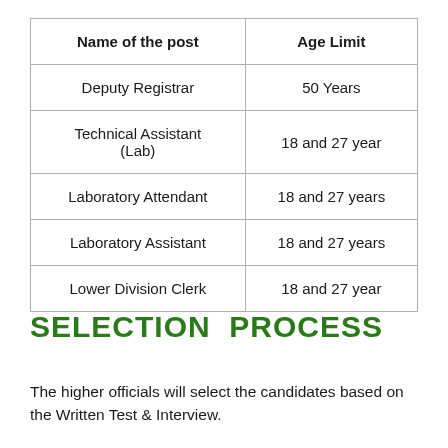| Name of the post | Age Limit |
| --- | --- |
| Deputy Registrar | 50 Years |
| Technical Assistant (Lab) | 18 and 27 year |
| Laboratory Attendant | 18 and 27 years |
| Laboratory Assistant | 18 and 27 years |
| Lower Division Clerk | 18 and 27 year |
SELECTION  PROCESS
The higher officials will select the candidates based on the Written Test & Interview.